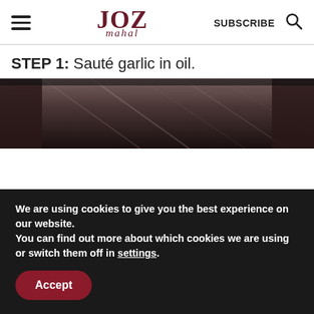JOZ mahal — SUBSCRIBE
STEP 1: Sauté garlic in oil.
[Figure (photo): Close-up of a stainless steel pan/wok interior showing brushed metal surface]
We are using cookies to give you the best experience on our website.
You can find out more about which cookies we are using or switch them off in settings.
Accept